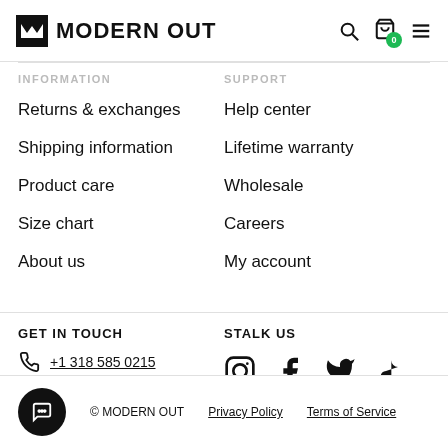MODERN OUT
INFORMATION
SUPPORT
Returns & exchanges
Shipping information
Product care
Size chart
About us
Help center
Lifetime warranty
Wholesale
Careers
My account
GET IN TOUCH
STALK US
+1 318 585 0215
Email us
© MODERN OUT   Privacy Policy   Terms of Service